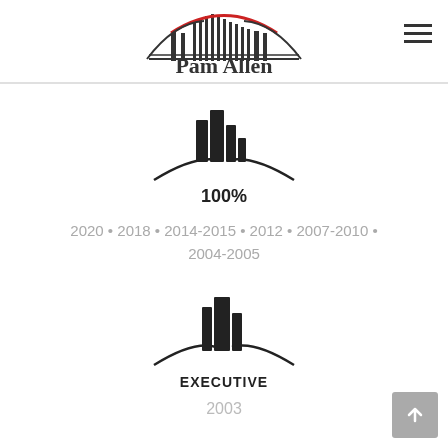[Figure (logo): Pam Allen real estate logo: Golden Gate Bridge silhouette with red arc, text 'Pam Allen' below]
[Figure (logo): 100% badge logo: stylized buildings with curved swoosh lines and '100%' text]
2020 • 2018 • 2014-2015 • 2012 • 2007-2010 • 2004-2005
[Figure (logo): EXECUTIVE badge logo: stylized buildings with curved swoosh lines and 'EXECUTIVE' text]
2003